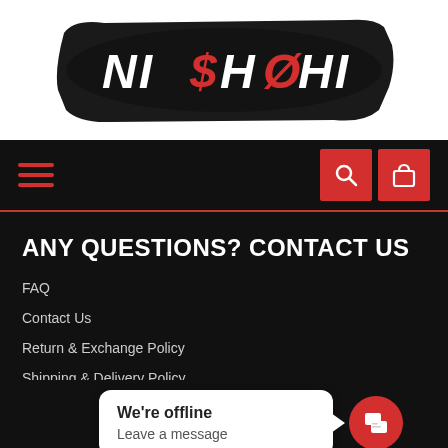[Figure (logo): Nishohi logo — stylized graffiti text on black brushstroke background, with dollar sign and zero replacing letters]
[Figure (other): Navigation bar with hamburger menu icon (red lines) on left and red search/cart icon buttons on right]
ANY QUESTIONS? CONTACT US
FAQ
Contact Us
Return & Exchange Policy
Shipping & Delivery Policy
Privacy Policy - T&Cs
FOLLOW US
[Figure (other): Chat widget overlay showing 'We're offline / Leave a message' speech bubble with red chat button]